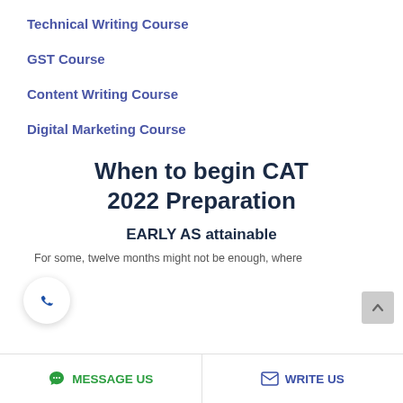Technical Writing Course
GST Course
Content Writing Course
Digital Marketing Course
When to begin CAT 2022 Preparation
EARLY AS attainable
For some, twelve months might not be enough, where
MESSAGE US   WRITE US